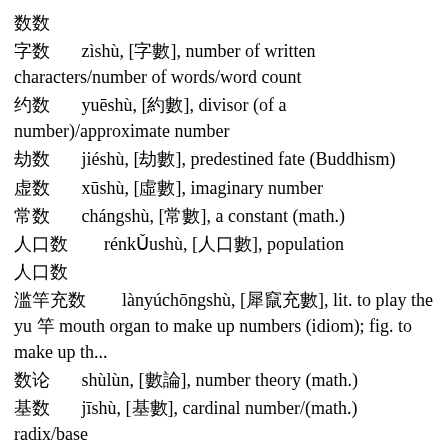数 [数]
字数　zìshù, [字數], number of written characters/number of words/word count
约数　yuēshù, [約數], divisor (of a number)/approximate number
劫数　jiéshù, [劫數], predestined fate (Buddhism)
虚数　xūshù, [虛數], imaginary number
常数　chángshù, [常數], a constant (math.)
人口数　rénkǓushù, [人口數], population
人口数
滥竽充数　lànyúchōngshù, [濫竽充數], lit. to play the yu 竽 mouth organ to make up numbers (idiom); fig. to make up th...
数论　shùlùn, [數論], number theory (math.)
基数　jīshù, [基數], cardinal number/(math.) radix/base
基数